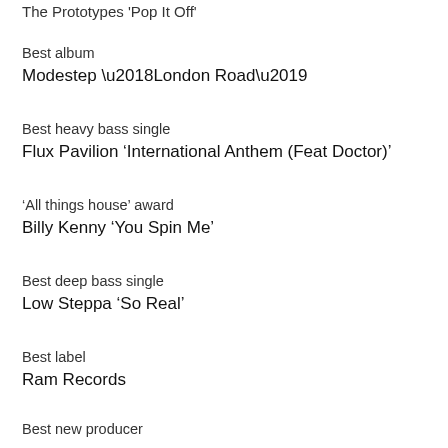The Prototypes 'Pop It Off'
Best album
Modestep ‘London Road’
Best heavy bass single
Flux Pavilion ‘International Anthem (Feat Doctor)’
‘All things house’ award
Billy Kenny ‘You Spin Me’
Best deep bass single
Low Steppa ‘So Real’
Best label
Ram Records
Best new producer